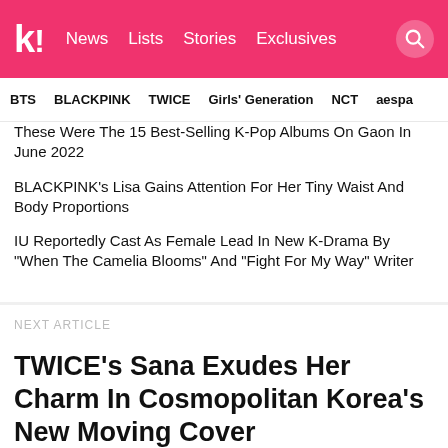k! News  Lists  Stories  Exclusives
BTS  BLACKPINK  TWICE  Girls' Generation  NCT  aespa
These Were The 15 Best-Selling K-Pop Albums On Gaon In June 2022
BLACKPINK's Lisa Gains Attention For Her Tiny Waist And Body Proportions
IU Reportedly Cast As Female Lead In New K-Drama By "When The Camelia Blooms" And "Fight For My Way" Writer
NEXT ARTICLE
TWICE's Sana Exudes Her Charm In Cosmopolitan Korea's New Moving Cover